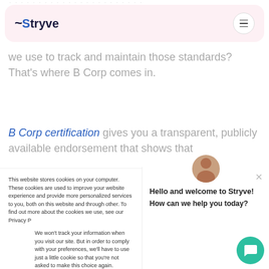Stryve — navigation bar with logo and hamburger menu
we use to track and maintain those standards? That's where B Corp comes in.
B Corp certification gives you a transparent, publicly available endorsement that shows that
This website stores cookies on your computer. These cookies are used to improve your website experience and provide more personalized services to you, both on this website and through other. To find out more about the cookies we use, see our Privacy P
We won't track your information when you visit our site. But in order to comply with your preferences, we'll have to use just one tiny cookie so that you're not asked to make this choice again.
Hello and welcome to Stryve! How can we help you today?